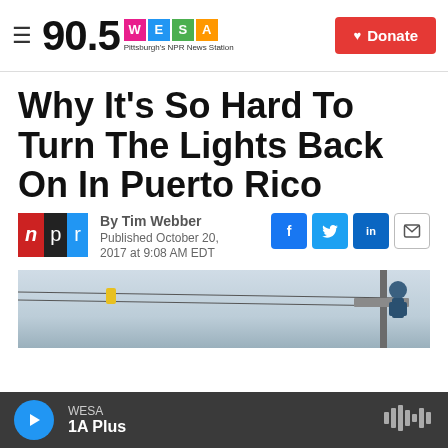90.5 WESA Pittsburgh's NPR News Station | Donate
Why It's So Hard To Turn The Lights Back On In Puerto Rico
By Tim Webber
Published October 20, 2017 at 9:08 AM EDT
[Figure (photo): Workers on a utility pole repairing power lines, with overcast sky background]
WESA 1A Plus